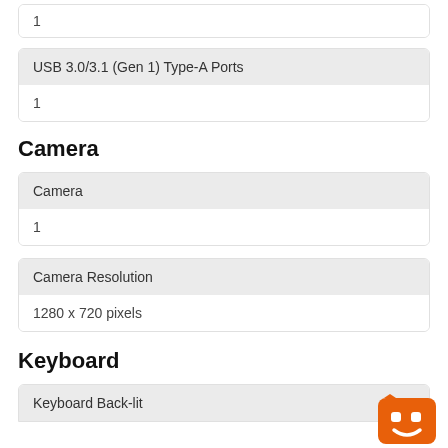| USB 3.0/3.1 (Gen 1) Type-A Ports |
| --- |
| 1 |
Camera
| Camera |
| --- |
| 1 |
| Camera Resolution |
| --- |
| 1280 x 720 pixels |
Keyboard
| Keyboard Back-lit |
| --- |